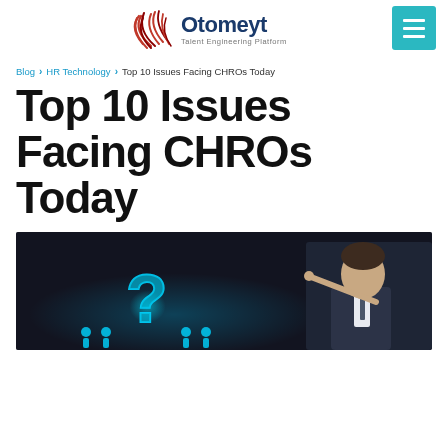Otomeyt — Talent Engineering Platform
Blog > HR Technology > Top 10 Issues Facing CHROs Today
Top 10 Issues Facing CHROs Today
[Figure (photo): Dark background image showing a person in a suit pointing at a glowing question mark with silhouettes of people figures below it, representing HR/workforce challenges.]